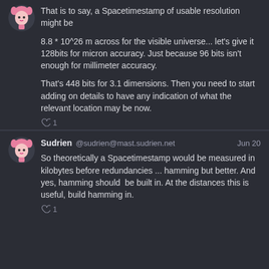That is to say, a Spacetimestamp of usable resolution might be

8.8 * 10^26 m across for the visible universe... let's give it 128bits for micron accuracy. Just because 96 bits isn't enough for millimeter accuracy.

That's 448 bits for 3.1 dimensions. Then you need to start adding on details to have any indication of what the relevant location may be now.
Sudrien @sudrien@mast.sudrien.net Jun 20
So theoretically a Spacetimestamp would be measured in kilobytes before redundancies ... hamming but better. And yes, hamming should be built in. At the distances this is useful, build hamming in.